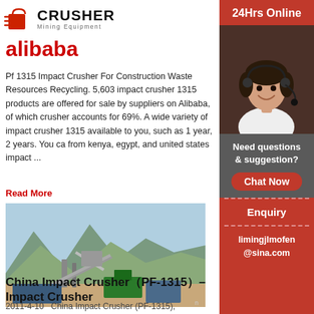[Figure (logo): Crusher Mining Equipment logo with red shopping bag icon and bold CRUSHER text]
alibaba
Pf 1315 Impact Crusher For Construction Waste Resources Recycling. 5,603 impact crusher 1315 products are offered for sale by suppliers on Alibaba, of which crusher accounts for 69%. A wide variety of impact crusher 1315 available to you, such as 1 year, 2 years. You ca from kenya, egypt, and united states impact ...
Read More
[Figure (photo): Outdoor industrial crusher machinery site with mountains in background, conveyor belts and green equipment visible]
China Impact Crusher (PF-1315) – Impact Crusher
2011-4-10   China Impact Crusher (PF-1315),
[Figure (infographic): Sidebar with 24Hrs Online text in red, customer service representative photo, Need questions & suggestion text in dark, Chat Now red button, Enquiry text, limingjlmofen@sina.com email]